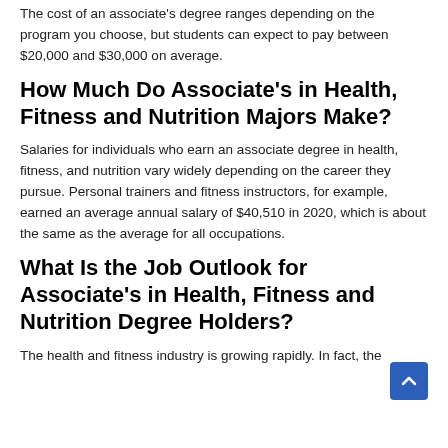The cost of an associate's degree ranges depending on the program you choose, but students can expect to pay between $20,000 and $30,000 on average.
How Much Do Associate's in Health, Fitness and Nutrition Majors Make?
Salaries for individuals who earn an associate degree in health, fitness, and nutrition vary widely depending on the career they pursue. Personal trainers and fitness instructors, for example, earned an average annual salary of $40,510 in 2020, which is about the same as the average for all occupations.
What Is the Job Outlook for Associate's in Health, Fitness and Nutrition Degree Holders?
The health and fitness industry is growing rapidly. In fact, the